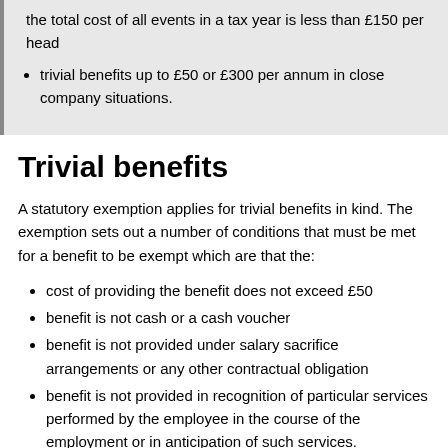the total cost of all events in a tax year is less than £150 per head
trivial benefits up to £50 or £300 per annum in close company situations.
Trivial benefits
A statutory exemption applies for trivial benefits in kind. The exemption sets out a number of conditions that must be met for a benefit to be exempt which are that the:
cost of providing the benefit does not exceed £50
benefit is not cash or a cash voucher
benefit is not provided under salary sacrifice arrangements or any other contractual obligation
benefit is not provided in recognition of particular services performed by the employee in the course of the employment or in anticipation of such services.
In addition where qualifying trivial benefits are provided to directors and other office holders of close companies they